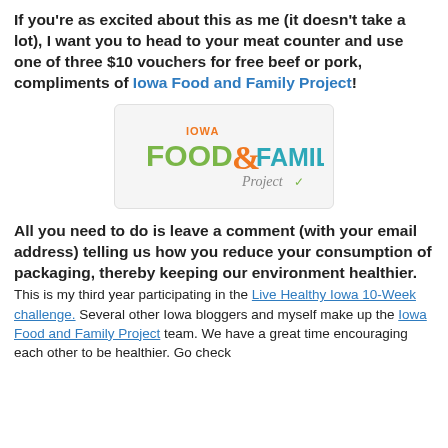If you're as excited about this as me (it doesn't take a lot), I want you to head to your meat counter and use one of three $10 vouchers for free beef or pork, compliments of Iowa Food and Family Project!
[Figure (logo): Iowa Food & Family Project logo with green FOOD text, orange ampersand, teal FAMILY text, and cursive 'Project' with a checkmark]
All you need to do is leave a comment (with your email address) telling us how you reduce your consumption of packaging, thereby keeping our environment healthier.
This is my third year participating in the Live Healthy Iowa 10-Week challenge. Several other Iowa bloggers and myself make up the Iowa Food and Family Project team. We have a great time encouraging each other to be healthier. Go check...